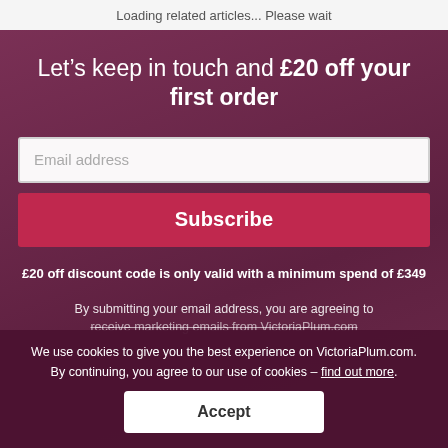Loading related articles... Please wait
[Figure (screenshot): Promotional banner on VictoriaPlum.com with a dark purple/wine-coloured background overlay on a bathroom product image, containing a newsletter signup form with email field, Subscribe button, discount note, and terms text.]
Let’s keep in touch and £20 off your first order
Email address
Subscribe
£20 off discount code is only valid with a minimum spend of £349
By submitting your email address, you are agreeing to receive marketing emails from VictoriaPlum.com
We use cookies to give you the best experience on VictoriaPlum.com. By continuing, you agree to our use of cookies – find out more.
Accept